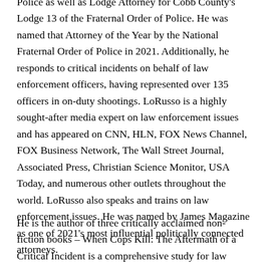Police as well as Lodge Attorney for Cobb County's Lodge 13 of the Fraternal Order of Police. He was named that Attorney of the Year by the National Fraternal Order of Police in 2021. Additionally, he responds to critical incidents on behalf of law enforcement officers, having represented over 135 officers in on-duty shootings. LoRusso is a highly sought-after media expert on law enforcement issues and has appeared on CNN, HLN, FOX News Channel, FOX Business Network, The Wall Street Journal, Associated Press, Christian Science Monitor, USA Today, and numerous other outlets throughout the world. LoRusso also speaks and trains on law enforcement issues. He was named by James Magazine as one of 2021's most influential politically connected attorneys.
He is the author of three critically acclaimed non-fiction books – When Cops Kill: The Aftermath of a Critical Incident is a comprehensive study for law